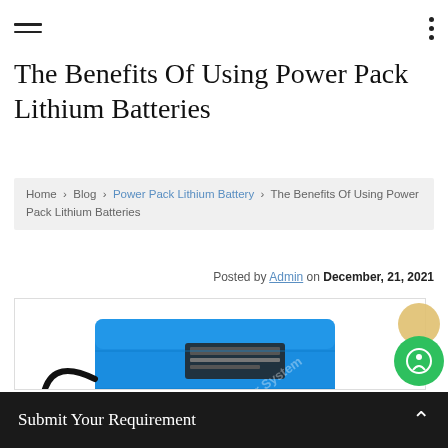The Benefits Of Using Power Pack Lithium Batteries
Home › Blog › Power Pack Lithium Battery › The Benefits Of Using Power Pack Lithium Batteries
Posted by Admin on December, 21, 2021
[Figure (photo): Blue lithium power pack battery with black cable connectors and a watermark reading 'ar Power System']
Submit Your Requirement